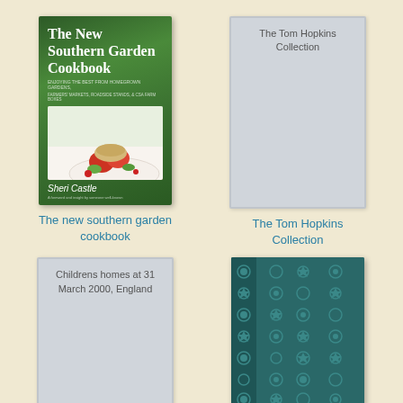[Figure (illustration): Book cover: The New Southern Garden Cookbook by Sheri Castle, green background with food photo]
The new southern garden cookbook
[Figure (illustration): Book cover placeholder: The Tom Hopkins Collection, gray cover with title text]
The Tom Hopkins Collection
[Figure (illustration): Book cover placeholder: Childrens homes at 31 March 2000, England, gray cover with title text]
[Figure (illustration): Book cover: teal/dark cyan decorative patterned hardcover book with circular floral motifs]